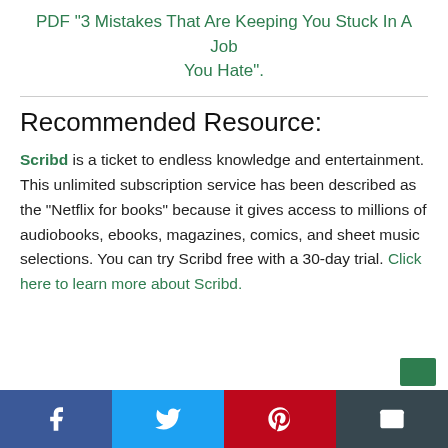PDF "3 Mistakes That Are Keeping You Stuck In A Job You Hate".
Recommended Resource:
Scribd is a ticket to endless knowledge and entertainment. This unlimited subscription service has been described as the "Netflix for books" because it gives access to millions of audiobooks, ebooks, magazines, comics, and sheet music selections. You can try Scribd free with a 30-day trial. Click here to learn more about Scribd.